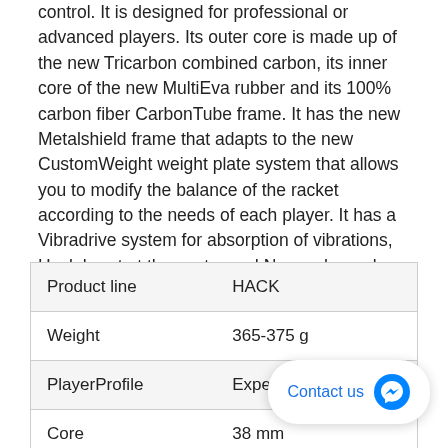control. It is designed for professional or advanced players. Its outer core is made up of the new Tricarbon combined carbon, its inner core of the new MultiEva rubber and its 100% carbon fiber CarbonTube frame. It has the new Metalshield frame that adapts to the new CustomWeight weight plate system that allows you to modify the balance of the racket according to the needs of each player. It has a Vibradrive system for absorption of vibrations, Hack heart at the centre and Nerve channels on the side of the racket frame. In addition, it features the innovative Hesacore grip, which reduces stress, vibrations and the probability of injury.The Hack racket features the new Adaptia system, developed especially for Pro range rackets.
| Product line |  |
| --- | --- |
| Product line | HACK |
| Weight | 365-375 g |
| PlayerProfile | Expert |
| Core | 38 mm |
| Profile | 38 mm |
| Balance | High |